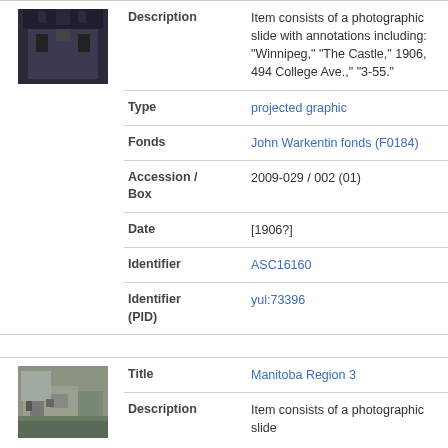[Figure (photo): Thumbnail photo of a dark brick building]
| Description | Item consists of a photographic slide with annotations including: "Winnipeg," "The Castle," 1906, 494 College Ave.," "3-55." |
| Type | projected graphic |
| Fonds | John Warkentin fonds (F0184) |
| Accession / Box | 2009-029 / 002 (01) |
| Date | [1906?] |
| Identifier | ASC16160 |
| Identifier (PID) | yul:73396 |
[Figure (photo): Thumbnail photo of a building with trees]
| Title | Manitoba Region 3 |
| Description | Item consists of a photographic slide |